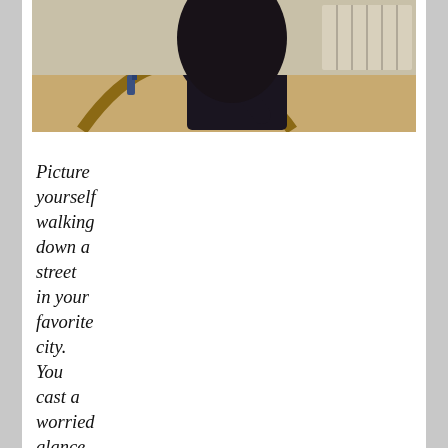[Figure (photo): A person leaning over a wooden workbench or curved wooden frame, working on a craft project in what appears to be a workshop. A radiator is visible in the background.]
Picture yourself walking down a street in your favorite city. You cast a worried glance down at your phone at the sound of a sad little beep. What! Only 2 percent battery left! How could this